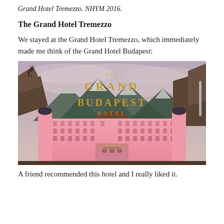Grand Hotel Tremezzo. NHYM 2016.
The Grand Hotel Tremezzo
We stayed at the Grand Hotel Tremezzo, which immediately made me think of the Grand Hotel Budapest:
[Figure (photo): Movie poster for 'The Grand Budapest Hotel' — a pink ornate hotel building in front of mountains, with the title text in gold letters. A deer statue is visible on a rocky cliff to the left.]
A friend recommended this hotel and I really liked it.